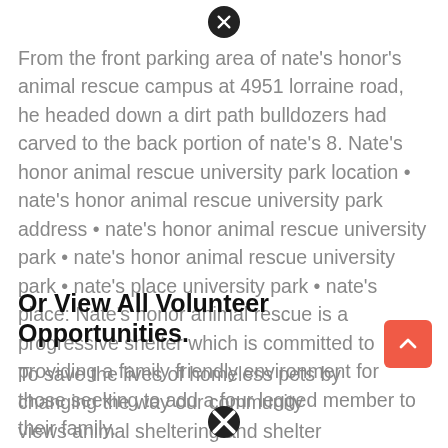From the front parking area of nate's honor's animal rescue campus at 4951 lorraine road, he headed down a dirt path bulldozers had carved to the back portion of nate's 8. Nate's honor animal rescue university park location • nate's honor animal rescue university park address • nate's honor animal rescue university park • nate's honor animal rescue university park • nate's place university park • nate's place: Nate's honor animal rescue is a progressive shelter which is committed to providing a family friendly environment for those seeking to add a four legged member to their family.
Or View All Volunteer Opportunities.
To save the lives of homeless pets by changing the way our community views animal sheltering and shelter pets. Rob oglesby, development director for nate's honor animal rescue zipped around on his golf